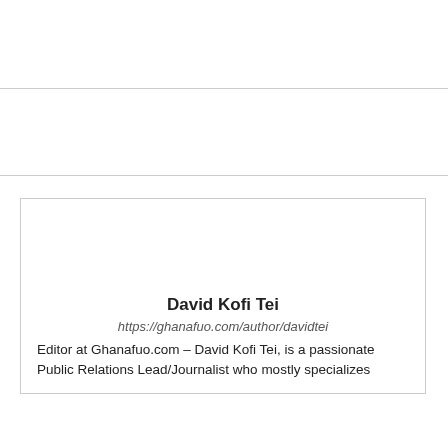David Kofi Tei
https://ghanafuo.com/author/davidtei
Editor at Ghanafuo.com – David Kofi Tei, is a passionate Public Relations Lead/Journalist who mostly specializes